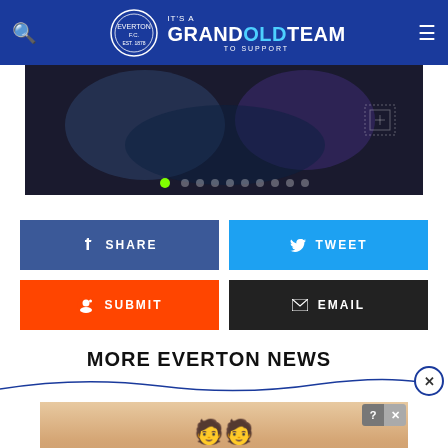IT'S A GRANDOLDTEAM TO SUPPORT
[Figure (photo): Dark blue/purple hero image with abstract texture, carousel dots at bottom, first dot active (green)]
[Figure (infographic): Facebook Share button (dark blue), Twitter Tweet button (light blue), Reddit Submit button (orange), Email button (black)]
MORE EVERTON NEWS
[Figure (infographic): Advertisement banner showing figures with text 'Hold and Move' on wooden background, with help and close controls]